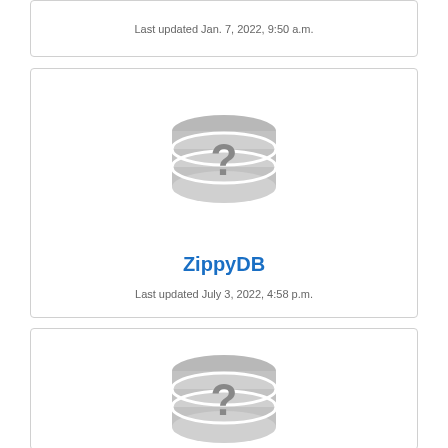Last updated Jan. 7, 2022, 9:50 a.m.
[Figure (illustration): Gray database cylinder icon with question mark]
ZippyDB
Last updated July 3, 2022, 4:58 p.m.
[Figure (illustration): Gray database cylinder icon with question mark]